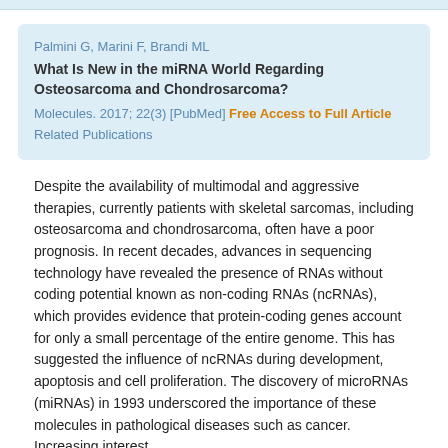Palmini G, Marini F, Brandi ML
What Is New in the miRNA World Regarding Osteosarcoma and Chondrosarcoma?
Molecules. 2017; 22(3) [PubMed] Free Access to Full Article Related Publications
Despite the availability of multimodal and aggressive therapies, currently patients with skeletal sarcomas, including osteosarcoma and chondrosarcoma, often have a poor prognosis. In recent decades, advances in sequencing technology have revealed the presence of RNAs without coding potential known as non-coding RNAs (ncRNAs), which provides evidence that protein-coding genes account for only a small percentage of the entire genome. This has suggested the influence of ncRNAs during development, apoptosis and cell proliferation. The discovery of microRNAs (miRNAs) in 1993 underscored the importance of these molecules in pathological diseases such as cancer. Increasing interest